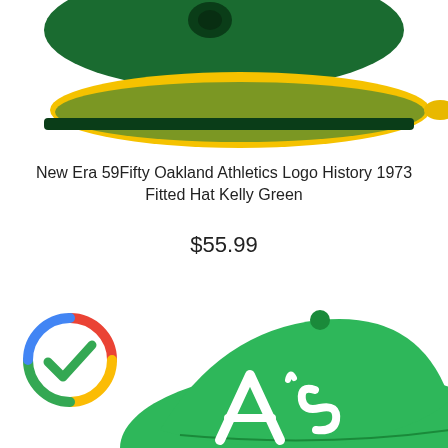[Figure (photo): Top portion of a green and gold New Era fitted baseball cap (Oakland Athletics), cropped showing the brim and top of the cap from the front.]
New Era 59Fifty Oakland Athletics Logo History 1973 Fitted Hat Kelly Green
$55.99
[Figure (logo): Google colored circular checkmark logo (red, yellow, green, blue segments) with a green checkmark in the center.]
[Figure (photo): Bottom portion of a kelly green New Era fitted baseball cap with white Oakland Athletics 'A's' script logo, cropped showing front of the cap.]